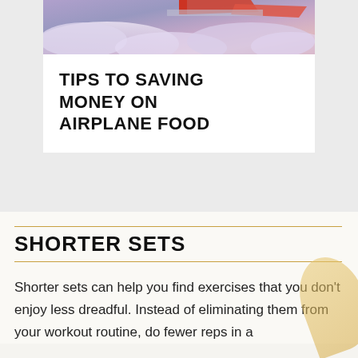[Figure (photo): Aerial photo showing airplane wing above clouds with pink and purple sky]
TIPS TO SAVING MONEY ON AIRPLANE FOOD
SHORTER SETS
Shorter sets can help you find exercises that you don't enjoy less dreadful. Instead of eliminating them from your workout routine, do fewer reps in a